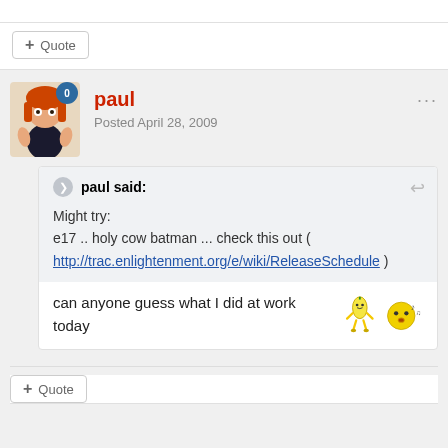paul
Posted April 28, 2009
paul said:
Might try:
e17 .. holy cow batman ... check this out ( http://trac.enlightenment.org/e/wiki/ReleaseSchedule )
can anyone guess what I did at work today
+ Quote
+ Quote